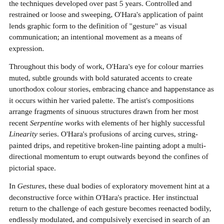the techniques developed over past 5 years. Controlled and restrained or loose and sweeping, O'Hara's application of paint lends graphic form to the definition of "gesture" as visual communication; an intentional movement as a means of expression.
Throughout this body of work, O'Hara's eye for colour marries muted, subtle grounds with bold saturated accents to create unorthodox colour stories, embracing chance and happenstance as it occurs within her varied palette. The artist's compositions arrange fragments of sinuous structures drawn from her most recent Serpentine works with elements of her highly successful Linearity series. O'Hara's profusions of arcing curves, string-painted drips, and repetitive broken-line painting adopt a multi-directional momentum to erupt outwards beyond the confines of pictorial space.
In Gestures, these dual bodies of exploratory movement hint at a deconstructive force within O'Hara's practice. Her instinctual return to the challenge of each gesture becomes reenacted bodily, endlessly modulated, and compulsively exercised in search of an elusive quality within the act, the gesture, of painting.